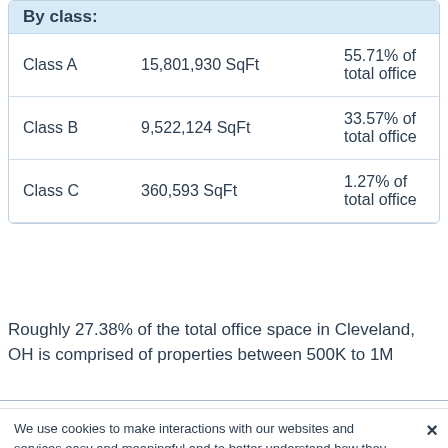|  |  |  |
| --- | --- | --- |
| By class: |  |  |
| Class A | 15,801,930 SqFt | 55.71% of total office |
| Class B | 9,522,124 SqFt | 33.57% of total office |
| Class C | 360,593 SqFt | 1.27% of total office |
Roughly 27.38% of the total office space in Cleveland, OH is comprised of properties between 500K to 1M
We use cookies to make interactions with our websites and services easy and meaningful and to better understand how they are used. You can find out more about which cookies we are using and update your preferences in Cookies Settings. By clicking “Accept All Cookies,” you are agreeing to our use of cookies. Cookie Notice.